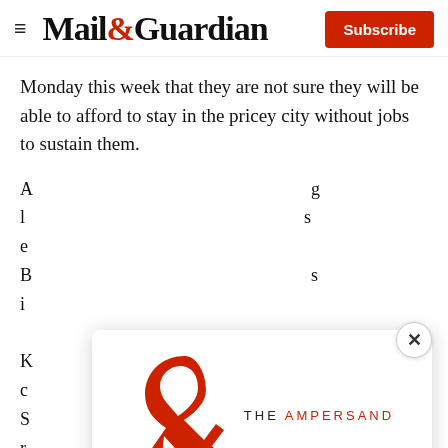Mail&Guardian — Subscribe
Monday this week that they are not sure they will be able to afford to stay in the pricey city without jobs to sustain them.
A... [partial text behind modal] ...s
[Figure (logo): The Ampersand newsletter logo — large red ampersand with THE AMPERSAND text]
Stay informed. Every weekday.
E-mail Address
Signup now